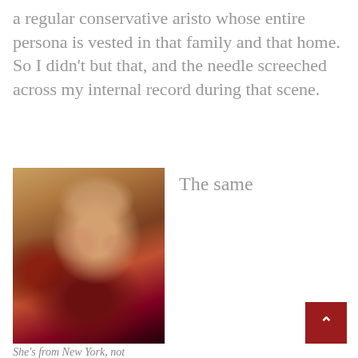a regular conservative aristo whose entire persona is vested in that family and that home.  So I didn't but that, and the needle screeched across my internal record during that scene.
[Figure (photo): Portrait photo of an older woman with reddish-brown wavy hair, wearing red lipstick and dangle earrings, dressed in a dark outfit with a red scarf or wrap.]
The same
She's from New York, not